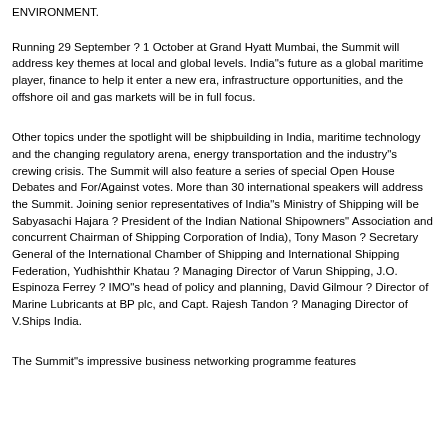ENVIRONMENT.
Running 29 September ? 1 October at Grand Hyatt Mumbai, the Summit will address key themes at local and global levels. India"s future as a global maritime player, finance to help it enter a new era, infrastructure opportunities, and the offshore oil and gas markets will be in full focus.
Other topics under the spotlight will be shipbuilding in India, maritime technology and the changing regulatory arena, energy transportation and the industry"s crewing crisis. The Summit will also feature a series of special Open House Debates and For/Against votes. More than 30 international speakers will address the Summit. Joining senior representatives of India"s Ministry of Shipping will be Sabyasachi Hajara ? President of the Indian National Shipowners" Association and concurrent Chairman of Shipping Corporation of India), Tony Mason ? Secretary General of the International Chamber of Shipping and International Shipping Federation, Yudhishthir Khatau ? Managing Director of Varun Shipping, J.O. Espinoza Ferrey ? IMO"s head of policy and planning, David Gilmour ? Director of Marine Lubricants at BP plc, and Capt. Rajesh Tandon ? Managing Director of V.Ships India.
The Summit"s impressive business networking programme features